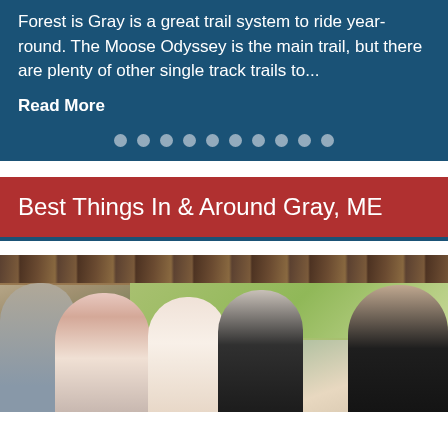Forest is Gray is a great trail system to ride year-round. The Moose Odyssey is the main trail, but there are plenty of other single track trails to...
Read More
Best Things In & Around Gray, ME
[Figure (photo): Group of people at an outdoor wedding celebration under a wooden pergola, laughing and holding champagne glasses]